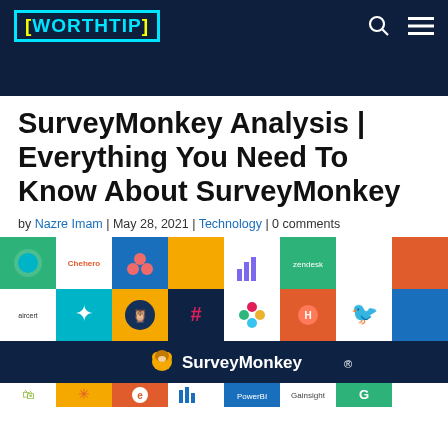WORTHTIP
SurveyMonkey Analysis | Everything You Need To Know About SurveyMonkey
by Nazre Imam | May 28, 2021 | Technology | 0 comments
[Figure (illustration): SurveyMonkey integrations logo mosaic showing various partner app icons on colored squares, with SurveyMonkey branding in center dark blue band]